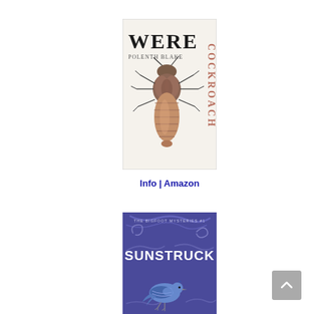[Figure (illustration): Book cover for 'Werecockroach' by Polenth Blake. White background with large stylized text 'WERE' at top left and 'COCKROACH' vertically on the right side. Author name 'POLENTH BLAKE' in smaller text. Center features a detailed drawing of a cockroach in brownish tones.]
Info | Amazon
[Figure (illustration): Book cover for 'Sunstruck' (The Bigfoot Mysteries #1). Purple/indigo background with swirling branch designs. Title 'SUNSTRUCK' in white bold text. Small text at top reads 'THE BIGFOOT MYSTERIES #1'. Bottom features a blue jay bird illustration.]